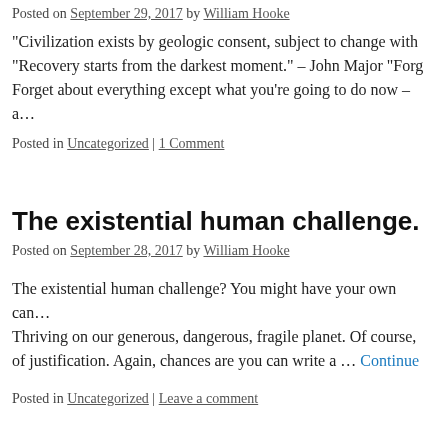Posted on September 29, 2017 by William Hooke
“Civilization exists by geologic consent, subject to change with… “Recovery starts from the darkest moment.” – John Major “Forg… Forget about everything except what you’re going to do now – a…
Posted in Uncategorized | 1 Comment
The existential human challenge.
Posted on September 28, 2017 by William Hooke
The existential human challenge? You might have your own can… Thriving on our generous, dangerous, fragile planet. Of course, … of justification. Again, chances are you can write a … Continue
Posted in Uncategorized | Leave a comment
Building U.S. disaster resilience.
Posted on September 27, 2017 by William Hooke